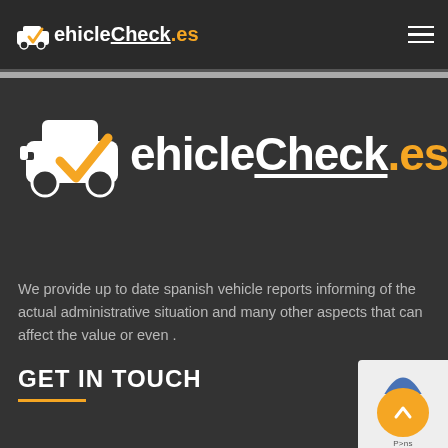VehicleCheck.es
[Figure (logo): VehicleCheck.es logo with car icon and yellow checkmark, large centered version on dark background]
We provide up to date spanish vehicle reports informing of the actual administrative situation and many other aspects that can affect the value or even .
GET IN TOUCH